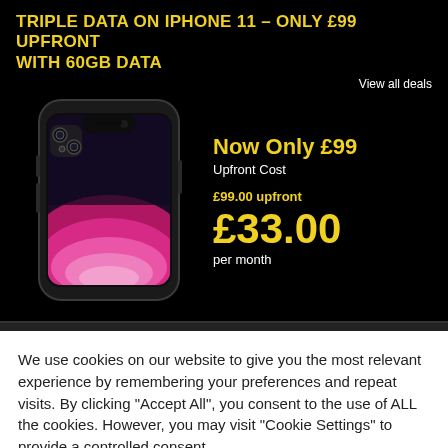TRIPLE DATA ON IPHONE 11 – ONLY £99 UPFRONT WITH 60GB DATA
View all deals
[Figure (photo): Black iPhone 11 smartphone shown front-facing on a dark background]
Now Only £99
Upfront Cost
£99.00 upfront
£33.00
per month
We use cookies on our website to give you the most relevant experience by remembering your preferences and repeat visits. By clicking "Accept All", you consent to the use of ALL the cookies. However, you may visit "Cookie Settings" to provide a controlled consent.